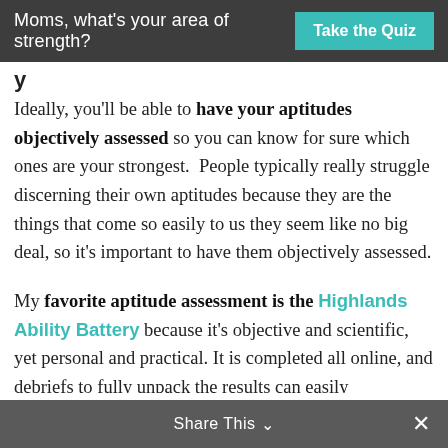Moms, what's your area of strength? Take the Quiz
y
Ideally, you'll be able to have your aptitudes objectively assessed so you can know for sure which ones are your strongest. People typically really struggle discerning their own aptitudes because they are the things that come so easily to us they seem like no big deal, so it's important to have them objectively assessed.
My favorite aptitude assessment is the Highlands Ability Battery because it's objective and scientific, yet personal and practical. It is completed all online, and debriefs to fully unpack the results can easily
Share This ∨  ×